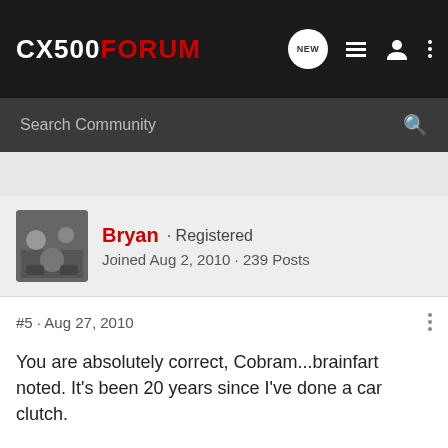CX500FORUM
Search Community
Bryan · Registered
Joined Aug 2, 2010 · 239 Posts
#5 · Aug 27, 2010
You are absolutely correct, Cobram...brainfart noted. It's been 20 years since I've done a car clutch.
1980 CX D